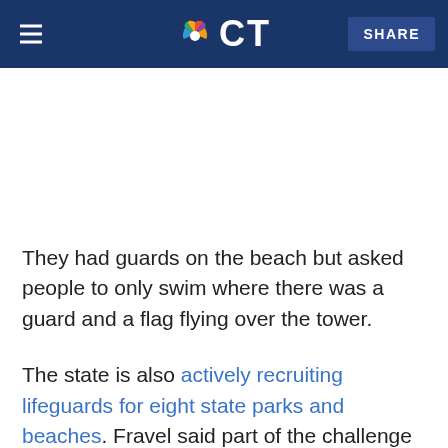NBC CT — SHARE
[Figure (other): Blank white space placeholder for an image or advertisement]
They had guards on the beach but asked people to only swim where there was a guard and a flag flying over the tower.
The state is also actively recruiting lifeguards for eight state parks and beaches. Fravel said part of the challenge for communities seeking lifeguards is getting candidates